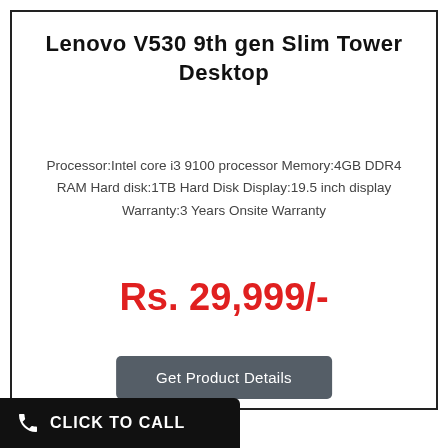Lenovo V530 9th gen Slim Tower Desktop
Processor:Intel core i3 9100 processor Memory:4GB DDR4 RAM Hard disk:1TB Hard Disk Display:19.5 inch display Warranty:3 Years Onsite Warranty
Rs. 29,999/-
Get Product Details
CLICK TO CALL